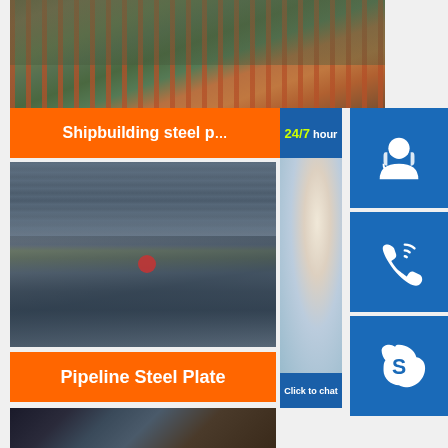[Figure (photo): Aerial view of shipbuilding/industrial facility with orange pipe structures]
Shipbuilding steel p...
24/7 hour
[Figure (photo): Customer support person with headset, smiling]
[Figure (photo): Steel plates/pipeline material aerial view with worker]
Pipeline Steel Plate
Click to chat
[Figure (photo): Dark industrial tubes/pipes partial view at bottom]